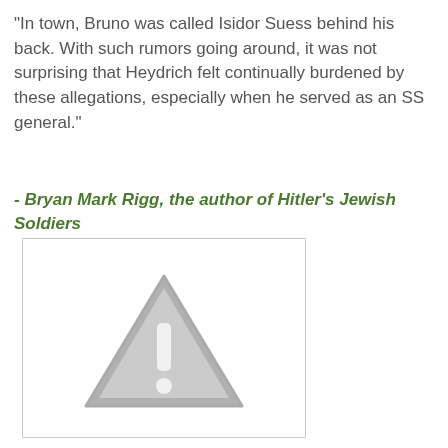"In town, Bruno was called Isidor Suess behind his back. With such rumors going around, it was not surprising that Heydrich felt continually burdened by these allegations, especially when he served as an SS general."
- Bryan Mark Rigg, the author of Hitler's Jewish Soldiers
[Figure (other): Image placeholder with a grey warning triangle (exclamation mark icon) indicating an image that could not be loaded.]